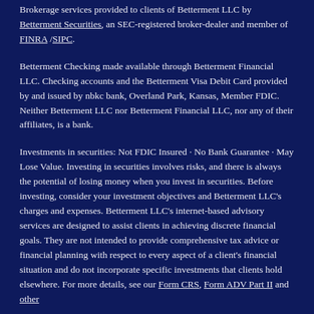Brokerage services provided to clients of Betterment LLC by Betterment Securities, an SEC-registered broker-dealer and member of FINRA /SIPC.
Betterment Checking made available through Betterment Financial LLC. Checking accounts and the Betterment Visa Debit Card provided by and issued by nbkc bank, Overland Park, Kansas, Member FDIC. Neither Betterment LLC nor Betterment Financial LLC, nor any of their affiliates, is a bank.
Investments in securities: Not FDIC Insured · No Bank Guarantee · May Lose Value. Investing in securities involves risks, and there is always the potential of losing money when you invest in securities. Before investing, consider your investment objectives and Betterment LLC's charges and expenses. Betterment LLC's internet-based advisory services are designed to assist clients in achieving discrete financial goals. They are not intended to provide comprehensive tax advice or financial planning with respect to every aspect of a client's financial situation and do not incorporate specific investments that clients hold elsewhere. For more details, see our Form CRS, Form ADV Part II and other disclosures. Terms of use and our privacy policy apply.